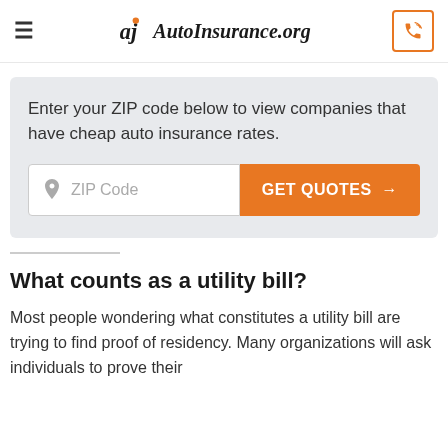AutoInsurance.org
Enter your ZIP code below to view companies that have cheap auto insurance rates.
ZIP Code  GET QUOTES →
What counts as a utility bill?
Most people wondering what constitutes a utility bill are trying to find proof of residency. Many organizations will ask individuals to prove their